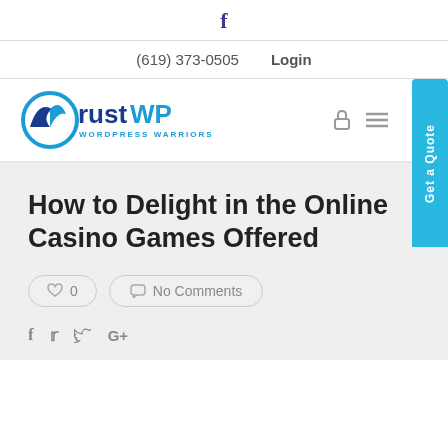f
(619) 373-0505   Login
[Figure (logo): Trust WP WordPress Warriors logo with circular bird/wing icon in blue and dark blue]
How to Delight in the Online Casino Games Offered
♥ 0   No Comments
f  🐦 G+